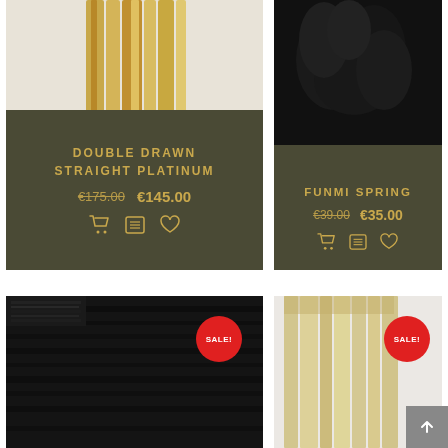[Figure (photo): Top-left: Blonde/platinum straight hair extension on light background]
DOUBLE DRAWN STRAIGHT PLATINUM
€175.00  €145.00
[Figure (photo): Top-right: Dark curly Funmi Spring hair extension on dark background]
FUNMI SPRING
€39.00  €35.00
[Figure (photo): Bottom-left: Black straight hair weave bundle with SALE badge]
[Figure (photo): Bottom-right: Platinum/blonde straight hair bundles on white fur with SALE badge]